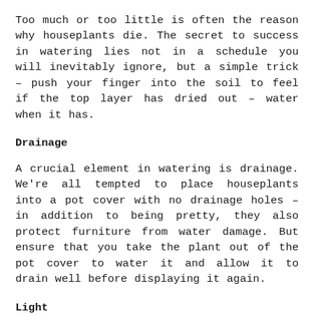Too much or too little is often the reason why houseplants die. The secret to success in watering lies not in a schedule you will inevitably ignore, but a simple trick – push your finger into the soil to feel if the top layer has dried out – water when it has.
Drainage
A crucial element in watering is drainage. We're all tempted to place houseplants into a pot cover with no drainage holes – in addition to being pretty, they also protect furniture from water damage. But ensure that you take the plant out of the pot cover to water it and allow it to drain well before displaying it again.
Light
Although they have slightly different lighting requirements, most indoor plants appreciate natural light close to a window, without direct sunlight that will scorch the leaves. If your plant looks unhappy